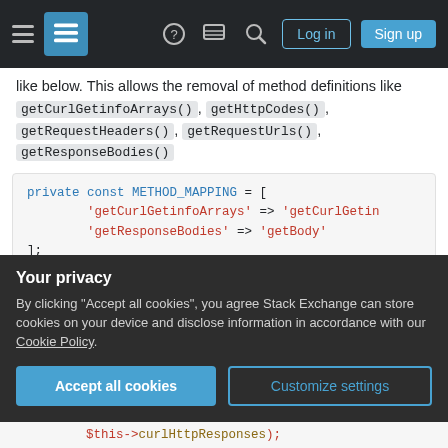Stack Exchange navigation bar with hamburger menu, logo, help icon, chat icon, search icon, Log in and Sign up buttons
like below. This allows the removal of method definitions like getCurlGetinfoArrays(), getHttpCodes(), getRequestHeaders(), getRequestUrls(), getResponseBodies()
[Figure (screenshot): PHP code block showing: private const METHOD_MAPPING = [ 'getCurlGetinfoArrays' => 'getCurlGetin... 'getResponseBodies' => 'getBody' ]; public function __call($method, $arguments) { $mapMethod = substr($method, 0, -1); if (isset(self::METHOD_MAPPING[$method]]
Your privacy
By clicking "Accept all cookies", you agree Stack Exchange can store cookies on your device and disclose information in accordance with our Cookie Policy.
$this->curlHttpResponses);